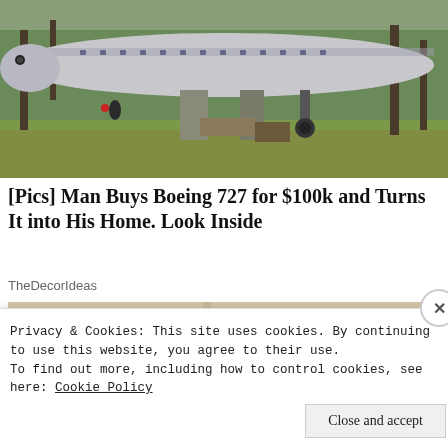[Figure (photo): Photograph of a Boeing 727 airplane parked in a wooded yard with fallen leaves on the ground, supported by concrete pillars, with trees in the background.]
[Pics] Man Buys Boeing 727 for $100k and Turns It into His Home. Look Inside
TheDecorIdeas
[Figure (photo): Partial photo showing the tops of two people's heads against a light beige background.]
Privacy & Cookies: This site uses cookies. By continuing to use this website, you agree to their use.
To find out more, including how to control cookies, see here: Cookie Policy
Close and accept